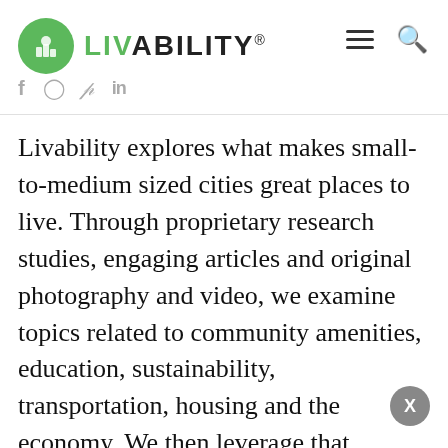LIVABILITY
Livability explores what makes small-to-medium sized cities great places to live. Through proprietary research studies, engaging articles and original photography and video, we examine topics related to community amenities, education, sustainability, transportation, housing and the economy. We then leverage that expertise to develop city rankings for a range of topics including small towns, college towns and our annual Top 100